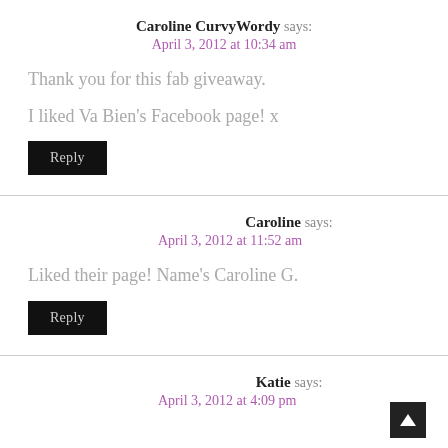Caroline CurvyWordy says:
April 3, 2012 at 10:34 am
Thank you for this fab giveaway.
I liked Va Bien's Facebook page! x
Reply
Caroline says:
April 3, 2012 at 11:52 am
Liked their page! Name's Caroline G.
Reply
Katie says:
April 3, 2012 at 4:09 pm